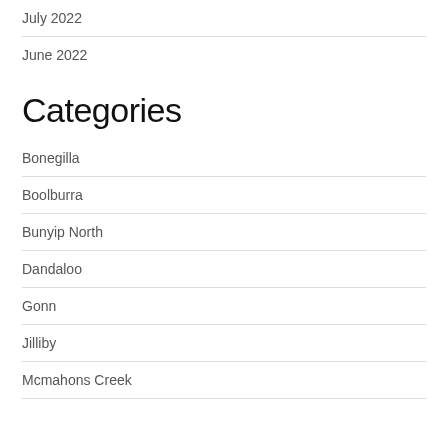July 2022
June 2022
Categories
Bonegilla
Boolburra
Bunyip North
Dandaloo
Gonn
Jilliby
Mcmahons Creek